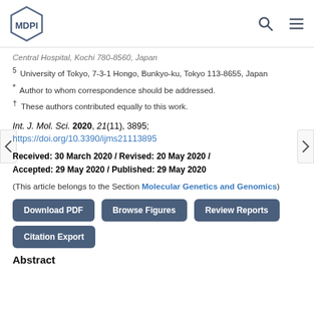MDPI [logo with navigation icons]
Central Hospital, Kochi 780-8560, Japan
5 University of Tokyo, 7-3-1 Hongo, Bunkyo-ku, Tokyo 113-8655, Japan
* Author to whom correspondence should be addressed.
† These authors contributed equally to this work.
Int. J. Mol. Sci. 2020, 21(11), 3895; https://doi.org/10.3390/ijms21113895
Received: 30 March 2020 / Revised: 20 May 2020 / Accepted: 29 May 2020 / Published: 29 May 2020
(This article belongs to the Section Molecular Genetics and Genomics)
Download PDF | Browse Figures | Review Reports | Citation Export
Abstract